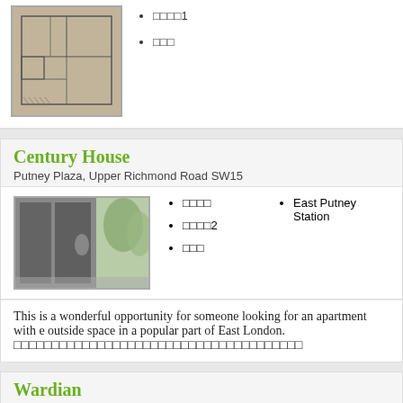[Figure (photo): Floor plan drawing of an apartment]
□□□□1
□□□
Century House
Putney Plaza, Upper Richmond Road SW15
[Figure (photo): Interior lobby photo of Century House with glass walls and modern decor]
□□□□
□□□□2
□□□
East Putney Station
This is a wonderful opportunity for someone looking for an apartment with e outside space in a popular part of East London. □□□□□□□□□□□□□□□□□□□□□□□□□□□□□□□□□□□□□□
Wardian
East Tower, Marsh Wall, London E14